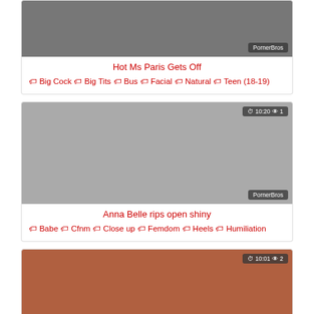[Figure (screenshot): Video thumbnail for Hot Ms Paris Gets Off with PornerBros watermark]
Hot Ms Paris Gets Off
🏷 Big Cock 🏷 Big Tits 🏷 Bus 🏷 Facial 🏷 Natural 🏷 Teen (18-19)
[Figure (screenshot): Video thumbnail for Anna Belle rips open shiny with duration 10:20, 1 view, PornerBros watermark]
Anna Belle rips open shiny
🏷 Babe 🏷 Cfnm 🏷 Close up 🏷 Femdom 🏷 Heels 🏷 Humiliation
[Figure (screenshot): Video thumbnail with duration 10:01, 2 views]